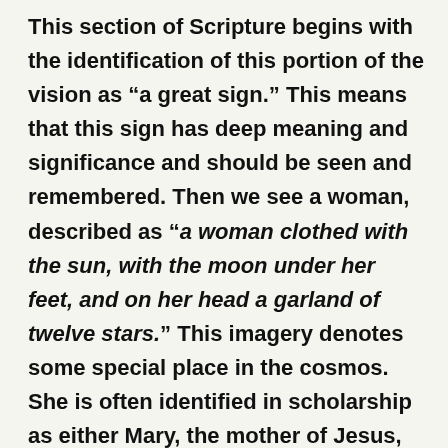This section of Scripture begins with the identification of this portion of the vision as “a great sign.” This means that this sign has deep meaning and significance and should be seen and remembered. Then we see a woman, described as “a woman clothed with the sun, with the moon under her feet, and on her head a garland of twelve stars.” This imagery denotes some special place in the cosmos. She is often identified in scholarship as either Mary, the mother of Jesus, the church, or other heavenly beings, perhaps having an appearance as a constellation of stars. I feel confident in the